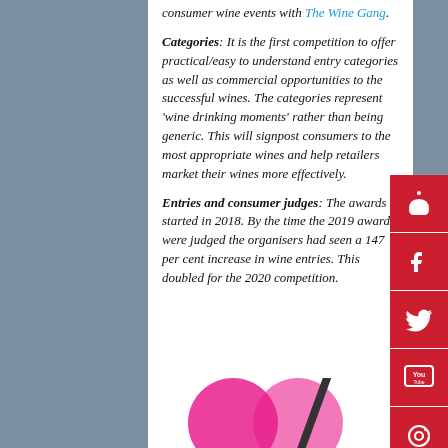consumer wine events with The Wine Gang.
Categories: It is the first competition to offer practical/easy to understand entry categories as well as commercial opportunities to the successful wines. The categories represent 'wine drinking moments' rather than being generic. This will signpost consumers to the most appropriate wines and help retailers market their wines more effectively.
Entries and consumer judges: The awards started in 2018. By the time the 2019 awards were judged the organisers had seen a 147 per cent increase in wine entries. This doubled for the 2020 competition.
[Figure (illustration): Partial view of pink/magenta circles and a diagonal slash, likely part of a logo at the bottom of the page]